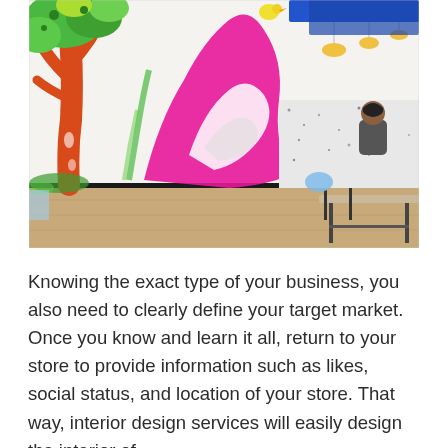[Figure (photo): Interior photo of a retail or office space featuring a colorful mural with cartoon trees (orange trunk, green foliage), pink and white swirling shapes, and other illustrations on a white wall. The right side shows a modern workspace with a white speckled counter, a person sitting, warm pendant lights, a blue ceiling structure, and a light wood table with black metal chairs/stools. The floor is light wood laminate.]
Knowing the exact type of your business, you also need to clearly define your target market. Once you know and learn it all, return to your store to provide information such as likes, social status, and location of your store. That way, interior design services will easily design the interior of